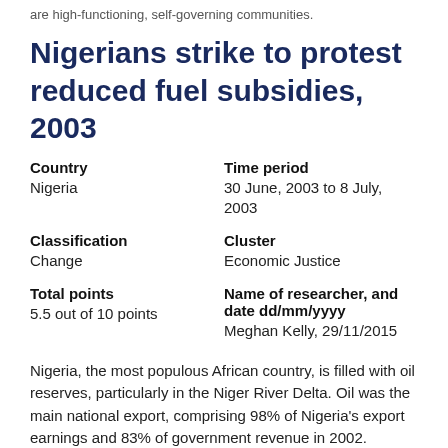are high-functioning, self-governing communities.
Nigerians strike to protest reduced fuel subsidies, 2003
| Country | Time period |
| Nigeria | 30 June, 2003 to 8 July, 2003 |
| Classification | Cluster |
| Change | Economic Justice |
| Total points | Name of researcher, and date dd/mm/yyyy |
| 5.5 out of 10 points | Meghan Kelly, 29/11/2015 |
Nigeria, the most populous African country, is filled with oil reserves, particularly in the Niger River Delta. Oil was the main national export, comprising 98% of Nigeria's export earnings and 83% of government revenue in 2002. Starting in the mid-1980s, the Nigerian government subsidized fuel, letting Nigerians buy oil and gasoline at prices significantly below